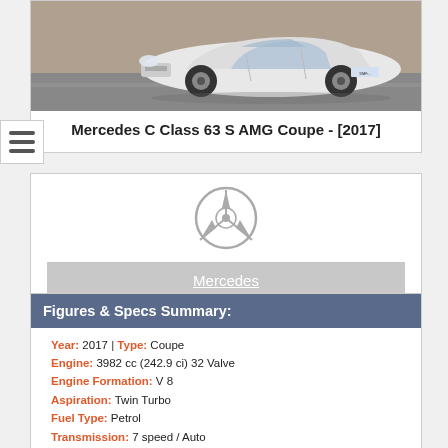[Figure (photo): White Mercedes C Class 63 S AMG Coupe on a road, photographed from a front-side angle]
Mercedes C Class 63 S AMG Coupe - [2017]
[Figure (logo): Mercedes-Benz three-pointed star logo (silver circle with star)]
Mercedes
Figures & Specs Summary:
Year: 2017 | Type: Coupe
Engine: 3982 cc (242.9 ci) 32 Valve
Engine Formation: V 8
Aspiration: Twin Turbo
Fuel Type: Petrol
Transmission: 7 speed / Auto
Top Speed: 155 mph (249.4 kph)
0-60 mph (96.6 kph): 3.8 secs
0-100 kph (0-62 mph): 3.9 secs